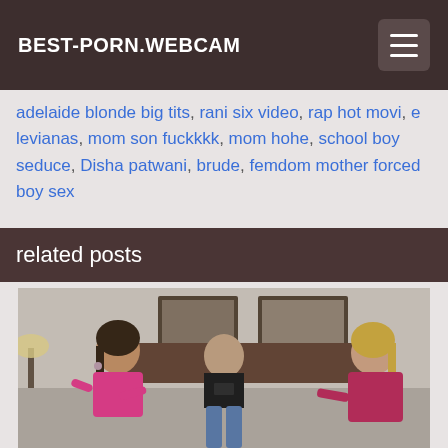BEST-PORN.WEBCAM
adelaide blonde big tits, rani six video, rap hot movi, e levianas, mom son fuckkkk, mom hohe, school boy seduce, Disha patwani, brude, femdom mother forced boy sex
related posts
[Figure (photo): Screenshot from an adult video showing three people in a bedroom scene. Two women wearing pink outfits and one man in a black North Face shirt and jeans sitting on a bed.]